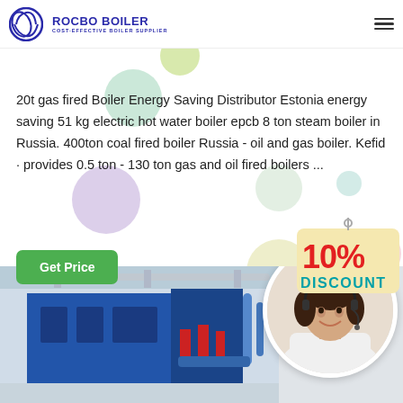[Figure (logo): Rocbo Boiler logo with crescent/globe icon, text ROCBO BOILER and COST-EFFECTIVE BOILER SUPPLIER]
[Figure (illustration): Decorative colored circles/bubbles in green, teal, purple, yellow, pink scattered on white background]
20t gas fired Boiler Energy Saving Distributor Estonia energy saving 51 kg electric hot water boiler epcb 8 ton steam boiler in Russia. 400ton coal fired boiler Russia - oil and gas boiler. Kefid · provides 0.5 ton - 130 ton gas and oil fired boilers ...
[Figure (illustration): 10% DISCOUNT promotional badge/sign in red and teal colors]
[Figure (photo): Industrial boiler room with blue boiler equipment and pipes; circular inset photo of female customer service representative with headset smiling]